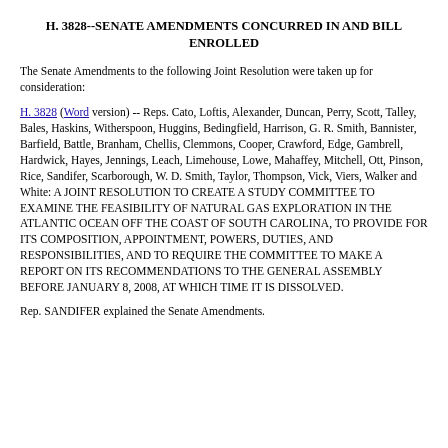H. 3828--SENATE AMENDMENTS CONCURRED IN AND BILL ENROLLED
The Senate Amendments to the following Joint Resolution were taken up for consideration:
H. 3828 (Word version) -- Reps. Cato, Loftis, Alexander, Duncan, Perry, Scott, Talley, Bales, Haskins, Witherspoon, Huggins, Bedingfield, Harrison, G. R. Smith, Bannister, Barfield, Battle, Branham, Chellis, Clemmons, Cooper, Crawford, Edge, Gambrell, Hardwick, Hayes, Jennings, Leach, Limehouse, Lowe, Mahaffey, Mitchell, Ott, Pinson, Rice, Sandifer, Scarborough, W. D. Smith, Taylor, Thompson, Vick, Viers, Walker and White: A JOINT RESOLUTION TO CREATE A STUDY COMMITTEE TO EXAMINE THE FEASIBILITY OF NATURAL GAS EXPLORATION IN THE ATLANTIC OCEAN OFF THE COAST OF SOUTH CAROLINA, TO PROVIDE FOR ITS COMPOSITION, APPOINTMENT, POWERS, DUTIES, AND RESPONSIBILITIES, AND TO REQUIRE THE COMMITTEE TO MAKE A REPORT ON ITS RECOMMENDATIONS TO THE GENERAL ASSEMBLY BEFORE JANUARY 8, 2008, AT WHICH TIME IT IS DISSOLVED.
Rep. SANDIFER explained the Senate Amendments.